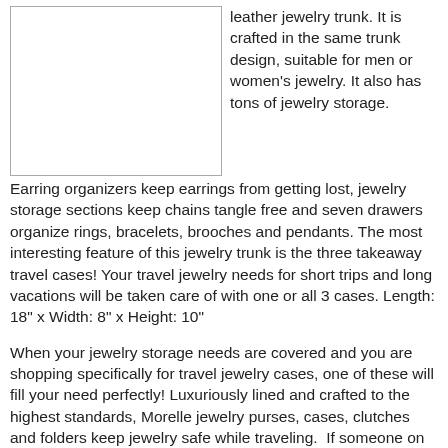[Figure (photo): Blank white box representing a product image of a leather jewelry trunk]
leather jewelry trunk. It is crafted in the same trunk design, suitable for men or women's jewelry. It also has tons of jewelry storage.
Earring organizers keep earrings from getting lost, jewelry storage sections keep chains tangle free and seven drawers organize rings, bracelets, brooches and pendants. The most interesting feature of this jewelry trunk is the three takeaway travel cases! Your travel jewelry needs for short trips and long vacations will be taken care of with one or all 3 cases. Length: 18" x Width: 8" x Height: 10"
When your jewelry storage needs are covered and you are shopping specifically for travel jewelry cases, one of these will fill your need perfectly! Luxuriously lined and crafted to the highest standards, Morelle jewelry purses, cases, clutches and folders keep jewelry safe while traveling.  If someone on your gift list vacations or travels for business, o